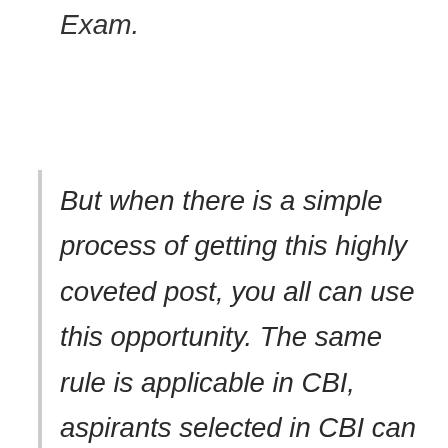Exam.
But when there is a simple process of getting this highly coveted post, you all can use this opportunity. The same rule is applicable in CBI, aspirants selected in CBI can become a CBI Inspector through Departmental Exam very soon. Now if somebody thinks of Departmental